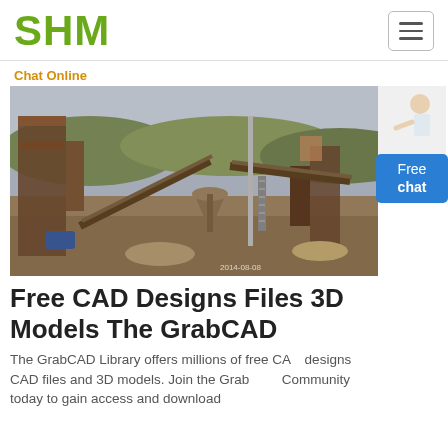SHM
Chat Online
[Figure (photo): Aerial/elevated view of a large industrial mining/crushing plant with conveyor belts, heavy machinery, rust-colored steel structures, and a quarry background]
Free CAD Designs Files 3D Models The GrabCAD
The GrabCAD Library offers millions of free CAD designs CAD files and 3D models. Join the GrabCAD Community today to gain access and download